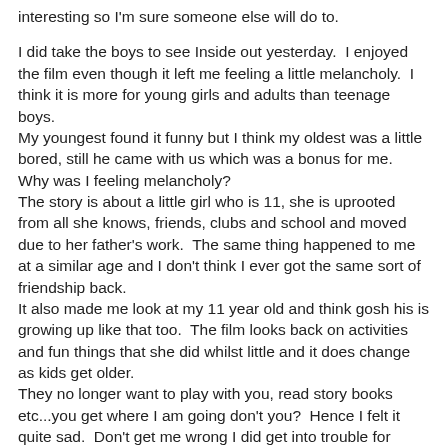interesting so I'm sure someone else will do to.
I did take the boys to see Inside out yesterday.  I enjoyed the film even though it left me feeling a little melancholy.  I think it is more for young girls and adults than teenage boys. My youngest found it funny but I think my oldest was a little bored, still he came with us which was a bonus for me. Why was I feeling melancholy? The story is about a little girl who is 11, she is uprooted from all she knows, friends, clubs and school and moved due to her father's work.  The same thing happened to me at a similar age and I don't think I ever got the same sort of friendship back. It also made me look at my 11 year old and think gosh his is growing up like that too.  The film looks back on activities and fun things that she did whilst little and it does change as kids get older. They no longer want to play with you, read story books etc...you get where I am going don't you?  Hence I felt it quite sad.  Don't get me wrong I did get into trouble for laughing too, particular when the voices in the Mum's head were trying to attract the voices in the Dad's head, it was